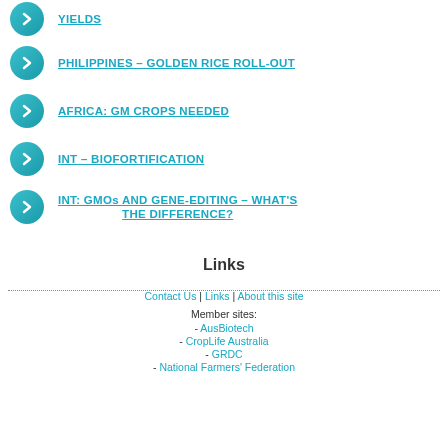YIELDS
PHILIPPINES – GOLDEN RICE ROLL-OUT
AFRICA: GM CROPS NEEDED
INT – BIOFORTIFICATION
INT: GMOs AND GENE-EDITING – WHAT'S THE DIFFERENCE?
Links
Contact Us | Links | About this site
Member sites:
- AusBiotech
- CropLife Australia
- GRDC
- National Farmers' Federation